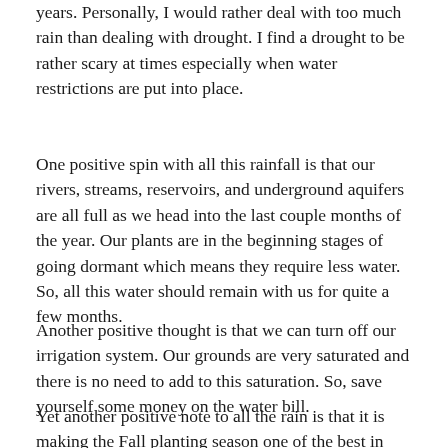years. Personally, I would rather deal with too much rain than dealing with drought. I find a drought to be rather scary at times especially when water restrictions are put into place.
One positive spin with all this rainfall is that our rivers, streams, reservoirs, and underground aquifers are all full as we head into the last couple months of the year. Our plants are in the beginning stages of going dormant which means they require less water. So, all this water should remain with us for quite a few months.
Another positive thought is that we can turn off our irrigation system. Our grounds are very saturated and there is no need to add to this saturation. So, save yourself some money on the water bill.
Yet another positive note to all the rain is that it is making the Fall planting season one of the best in years. Our soil has